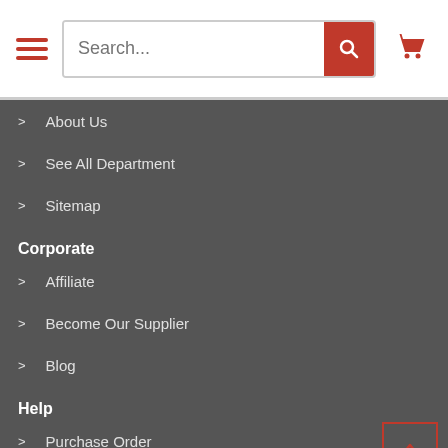[Figure (screenshot): E-commerce website header with hamburger menu, search bar with red search button, and red shopping cart icon]
> About Us
> See All Department
> Sitemap
Corporate
> Affiliate
> Become Our Supplier
> Blog
Help
> Purchase Order
> Terms of Use
> Shipping & Return